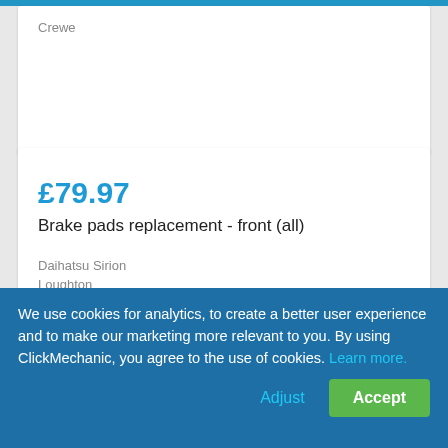Crewe
£79.97
Brake pads replacement - front (all)
Daihatsu Sirion
Loughton
£84.42 (partial)
We use cookies for analytics, to create a better user experience and to make our marketing more relevant to you. By using ClickMechanic, you agree to the use of cookies. Learn more.
Adjust
Accept